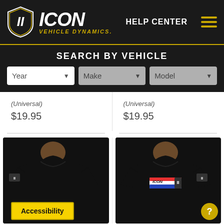[Figure (logo): ICON Vehicle Dynamics logo with shield emblem and brand name]
HELP CENTER
SEARCH BY VEHICLE
(Universal)
(Universal)
$19.95
$19.95
[Figure (photo): Black ICON Vehicle Dynamics t-shirt on model]
[Figure (photo): Black ICON GI Joe themed t-shirt on model with ICON branding]